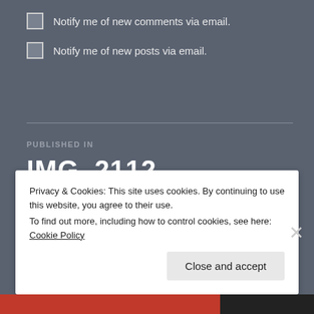Notify me of new comments via email.
Notify me of new posts via email.
PUBLISHED IN
IMG_2112
Privacy & Cookies: This site uses cookies. By continuing to use this website, you agree to their use. To find out more, including how to control cookies, see here: Cookie Policy